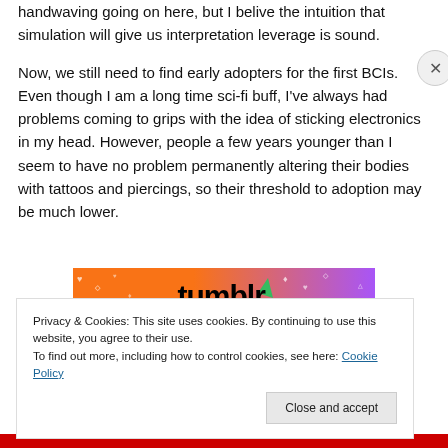handwaving going on here, but I belive the intuition that simulation will give us interpretation leverage is sound.
Now, we still need to find early adopters for the first BCIs. Even though I am a long time sci-fi buff, I've always had problems coming to grips with the idea of sticking electronics in my head. However, people a few years younger than I seem to have no problem permanently altering their bodies with tattoos and piercings, so their threshold to adoption may be much lower.
[Figure (illustration): Colorful banner with orange and purple background showing partial text]
Privacy & Cookies: This site uses cookies. By continuing to use this website, you agree to their use.
To find out more, including how to control cookies, see here: Cookie Policy
Close and accept